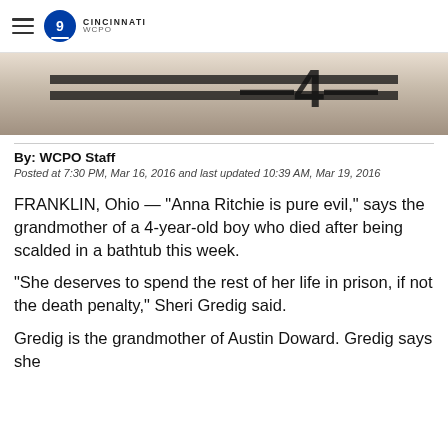WCPO 9 Cincinnati
[Figure (photo): Partial photo showing a person in a white top with a measurement marker showing '4' in the background, resembling a police booking/mugshot style image.]
By: WCPO Staff
Posted at 7:30 PM, Mar 16, 2016 and last updated 10:39 AM, Mar 19, 2016
FRANKLIN, Ohio — "Anna Ritchie is pure evil," says the grandmother of a 4-year-old boy who died after being scalded in a bathtub this week.
"She deserves to spend the rest of her life in prison, if not the death penalty," Sheri Gredig said.
Gredig is the grandmother of Austin Doward. Gredig says she